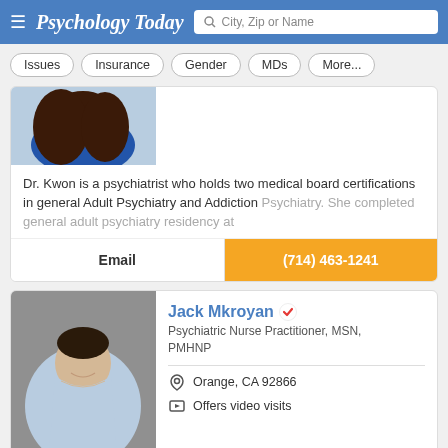Psychology Today — City, Zip or Name search
Issues
Insurance
Gender
MDs
More...
[Figure (photo): Partial photo of Dr. Kwon, female psychiatrist with dark hair wearing blue top]
Dr. Kwon is a psychiatrist who holds two medical board certifications in general Adult Psychiatry and Addiction Psychiatry. She completed general adult psychiatry residency at
Email
(714) 463-1241
[Figure (photo): Photo of Jack Mkroyan, male provider with dark hair wearing light blue shirt, smiling against grey background]
Jack Mkroyan
Psychiatric Nurse Practitioner, MSN, PMHNP
Orange, CA 92866
Offers video visits